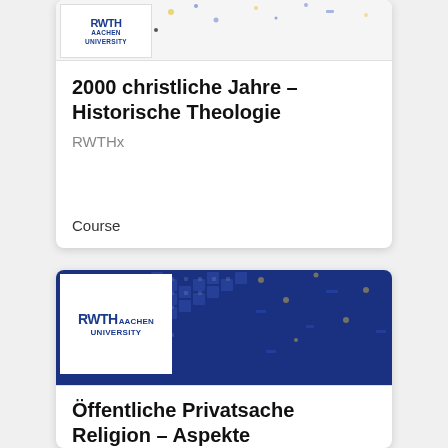[Figure (logo): RWTH Aachen University logo on card 1 top image strip]
2000 christliche Jahre – Historische Theologie
RWTHx
Course
[Figure (logo): RWTH Aachen University logo on card 2 top image strip with blue dot pattern background]
Öffentliche Privatsache Religion – Aspekte